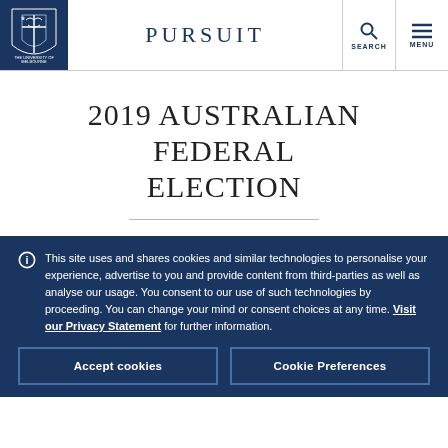PURSUIT
2019 AUSTRALIAN FEDERAL ELECTION
This site uses and shares cookies and similar technologies to personalise your experience, advertise to you and provide content from third-parties as well as analyse our usage. You consent to our use of such technologies by proceeding. You can change your mind or consent choices at any time. Visit our Privacy Statement for further information.
Accept cookies
Cookie Preferences